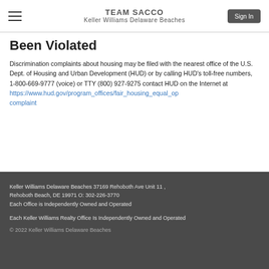TEAM SACCO
Keller Williams Delaware Beaches
Been Violated
Discrimination complaints about housing may be filed with the nearest office of the U.S. Dept. of Housing and Urban Development (HUD) or by calling HUD's toll-free numbers, 1-800-669-9777 (voice) or TTY (800) 927-9275 contact HUD on the Internet at https://www.hud.gov/program_offices/fair_housing_equal_op complaint
Keller Williams Delaware Beaches 37169 Rehoboth Ave Unit 11 , Rehoboth Beach, DE 19971 O: 302-226-3770
Each Office is Independently Owned and Operated

Each Keller Williams Realty Office Is Independently Owned and Operated

© 2022 Keller Williams Delaware Beaches